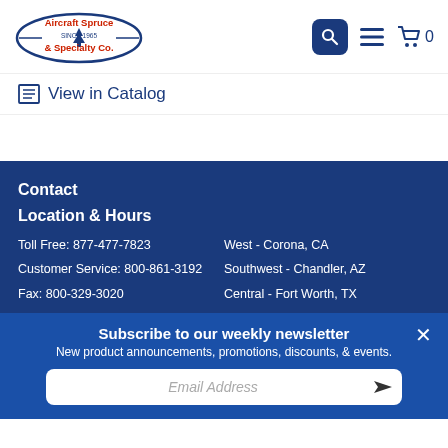Aircraft Spruce & Specialty Co. — navigation header with search, menu, and cart icons
View in Catalog
Contact
Toll Free: 877-477-7823
Customer Service: 800-861-3192
Fax: 800-329-3020
Location & Hours
West - Corona, CA
Southwest - Chandler, AZ
Central - Fort Worth, TX
Midwest - West Chicago, IL
Northeast - Harrisburg, PA
Subscribe to our weekly newsletter
New product announcements, promotions, discounts, & events.